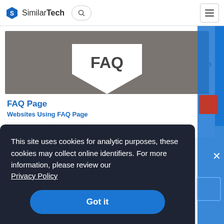SimilarTech
[Figure (screenshot): FAQ page thumbnail showing grey background with a white downward arrow/chevron shape containing the text FAQ in dark letters]
FAQ Page
Websites Using FAQ Page
Websites with FAQ page
This site uses cookies for analytic purposes, these cookies may collect online identifiers. For more information, please review our Privacy Policy
Got it